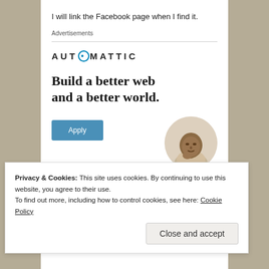I will link the Facebook page when I find it.
Advertisements
[Figure (infographic): Automattic advertisement banner with logo, headline 'Build a better web and a better world.', an Apply button, and a circular photo of a man looking upward thoughtfully.]
Privacy & Cookies: This site uses cookies. By continuing to use this website, you agree to their use.
To find out more, including how to control cookies, see here: Cookie Policy
Close and accept